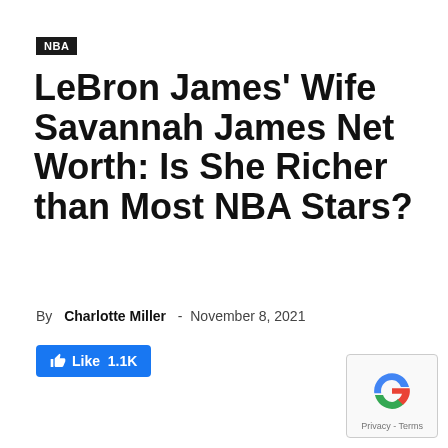NBA
LeBron James' Wife Savannah James Net Worth: Is She Richer than Most NBA Stars?
By Charlotte Miller - November 8, 2021
[Figure (other): Facebook Like button showing 1.1K likes]
[Figure (other): reCAPTCHA widget with Privacy - Terms text]